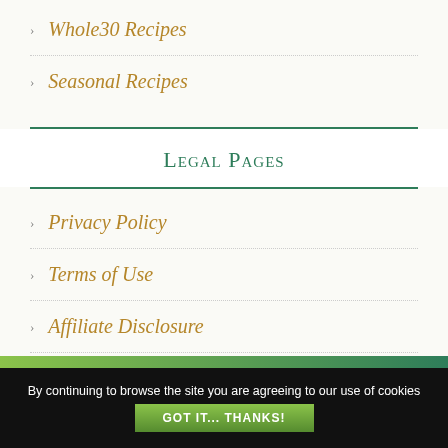Whole30 Recipes
Seasonal Recipes
Legal Pages
Privacy Policy
Terms of Use
Affiliate Disclosure
Medical Disclaimer
By continuing to browse the site you are agreeing to our use of cookies
GOT IT... THANKS!